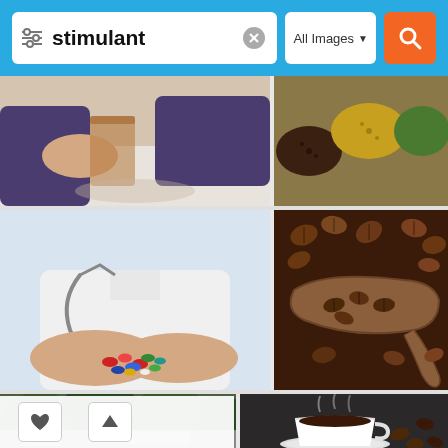[Figure (screenshot): Image search results page for the query 'stimulant'. The page shows a blue search bar at the top with a filter icon, the word 'stimulant' in bold, a clear (X) button, an 'All Images' dropdown, and an orange search button with a magnifying glass icon. Below are grid-layout search result images: top row shows hands holding a glass of liquid and colorful spices/herbs; middle row shows a doctor in white coat holding colorful pills/capsules with stethoscope, and a wooden scoop with coffee beans; bottom row shows a takeout coffee cup with trees and a car in background, and a steaming white cup of coffee with coffee beans on a dark surface. Bottom-left has a white toolbar with heart and up-arrow icons.]